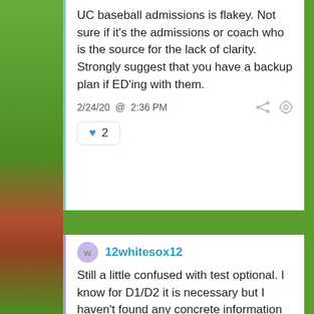UC baseball admissions is flakey. Not sure if it's the admissions or coach who is the source for the lack of clarity. Strongly suggest that you have a backup plan if ED'ing with them.
2/24/20 @ 2:36 PM
♥ 2
12whitesox12
Still a little confused with test optional. I know for D1/D2 it is necessary but I haven't found any concrete information on D3. It would seem unlikely that UChicago would allow test optional for baseball players but with the virus